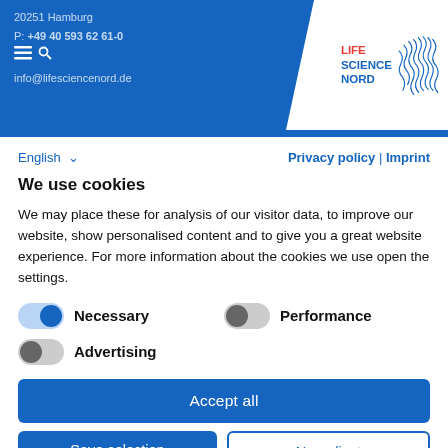20251 Hamburg
P: +49 40 593 62 61-0
info@lifesciencenord.de
[Figure (logo): Life Science Nord logo with blue text and red 'LIFE' label, with blue wave graphic]
English ↓
Privacy policy | Imprint
We use cookies
We may place these for analysis of our visitor data, to improve our website, show personalised content and to give you a great website experience. For more information about the cookies we use open the settings.
Necessary
Performance
Advertising
Accept all
Save selection
No, adjust